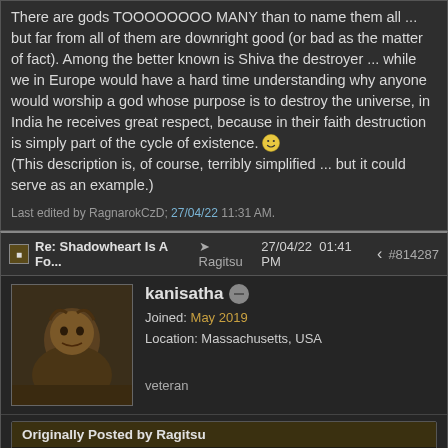There are gods TOOOOOOOO MANY than to name them all ... but far from all of them are downright good (or bad as the matter of fact). Among the better known is Shiva the destroyer ... while we in Europe would have a hard time understanding why anyone would worship a god whose purpose is to destroy the universe, in India he receives great respect, because in their faith destruction is simply part of the cycle of existence. [emoji] (This description is, of course, terribly simplified ... but it could serve as an example.)
Last edited by RagnarokCzD; 27/04/22 11:31 AM.
Re: Shadowheart Is A Fo... Ragitsu 27/04/22 01:41 PM #814287
kanisatha veteran — Joined: May 2019, Location: Massachusetts, USA
Originally Posted by Ragitsu
Originally Posted by geala
allegedly evil gods
...